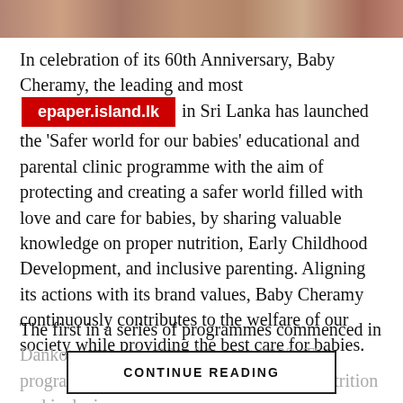[Figure (photo): Horizontal photo strip at top of page showing partial images of people]
In celebration of its 60th Anniversary, Baby Cheramy, the leading and most [epaper.island.lk] in Sri Lanka has launched the 'Safer world for our babies' educational and parental clinic programme with the aim of protecting and creating a safer world filled with love and care for babies, by sharing valuable knowledge on proper nutrition, Early Childhood Development, and inclusive parenting. Aligning its actions with its brand values, Baby Cheramy continuously contributes to the welfare of our society while providing the best care for babies.
The first in a series of programmes commenced in Dankotuwa on the 9th of August 2022. The programme advocated the importance of nutrition and inclusive
CONTINUE READING